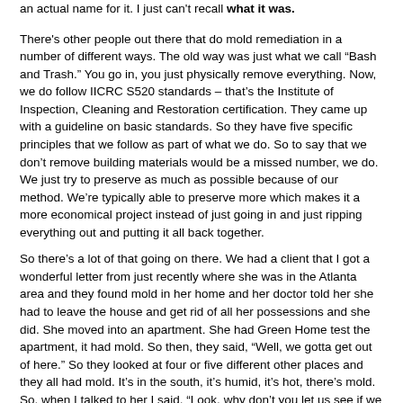an actual name for it. I just can't recall what it was.
There's other people out there that do mold remediation in a number of different ways. The old way was just what we call “Bash and Trash.” You go in, you just physically remove everything. Now, we do follow IICRC S520 standards – that's the Institute of Inspection, Cleaning and Restoration certification. They came up with a guideline on basic standards. So they have five specific principles that we follow as part of what we do. So to say that we don’t remove building materials would be a missed number, we do. We just try to preserve as much as possible because of our method. We’re typically able to preserve more which makes it a more economical project instead of just going in and just ripping everything out and putting it all back together.
So there’s a lot of that going on there. We had a client that I got a wonderful letter from just recently where she was in the Atlanta area and they found mold in her home and her doctor told her she had to leave the house and get rid of all her possessions and she did. She moved into an apartment. She had Green Home test the apartment, it had mold. So then, they said, “Well, we gotta get out of here.” So they looked at four or five different other places and they all had mold. It’s in the south, it’s humid, it’s hot, there’s mold. So, when I talked to her I said, “Look, why don’t you let us see if we can get you back into your home. There’s a number of things that we can do and if it doesn’t work, don’t pay.”
0:57:11.7 Ashley James: That’s nice.